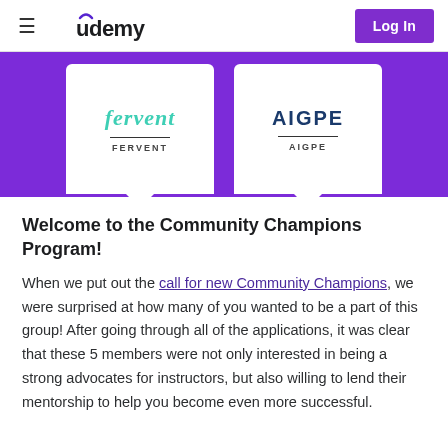udemy | Log In
[Figure (screenshot): Purple banner showing two company logo cards: FERVENT (teal italic text) and AIGPE (dark blue bold text), each in a white rounded card with a downward-pointing speech bubble tail, on a purple background.]
Welcome to the Community Champions Program!
When we put out the call for new Community Champions, we were surprised at how many of you wanted to be a part of this group! After going through all of the applications, it was clear that these 5 members were not only interested in being a strong advocates for instructors, but also willing to lend their mentorship to help you become even more successful.